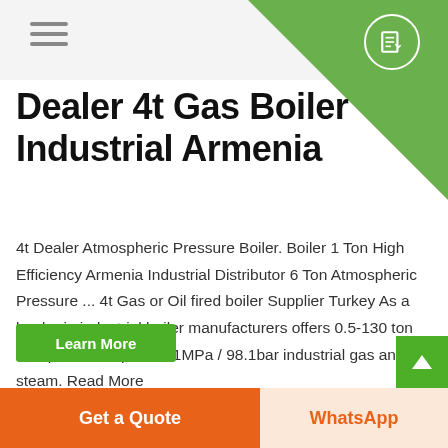Dealer 4t Gas Boiler Industrial Armenia
4t Dealer Atmospheric Pressure Boiler. Boiler 1 Ton High Efficiency Armenia Industrial Distributor 6 Ton Atmospheric Pressure ... 4t Gas or Oil fired boiler Supplier Turkey As a leader in industrial boiler manufacturers offers 0.5-130 ton with pressure up to 9.81MPa / 98.1bar industrial gas and oil steam. Read More